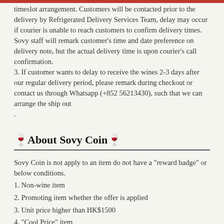timeslot arrangement. Customers will be contacted prior to the delivery by Refrigerated Delivery Services Team, delay may occur if courier is unable to reach customers to confirm delivery times. Sovy staff will remark customer's time and date preference on delivery note, but the actual delivery time is upon courier's call confirmation. 3. If customer wants to delay to receive the wines 2-3 days after our regular delivery period, please remark during checkout or contact us through Whatsapp (+852 56213430), such that we can arrange the ship out .
🍷About Sovy Coin🍷
Sovy Coin is not apply to an item do not have a "reward badge" or below conditions.
1. Non-wine item
2. Promoting item whether the offer is applied
3. Unit price higher than HK$1500
4. "Cool Price" item
5. In-stock item